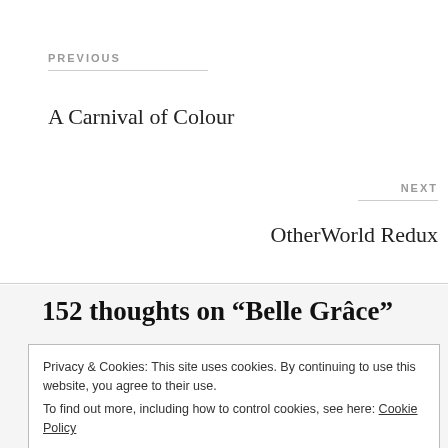PREVIOUS
A Carnival of Colour
NEXT
OtherWorld Redux
152 thoughts on “Belle Grâce”
Privacy & Cookies: This site uses cookies. By continuing to use this website, you agree to their use.
To find out more, including how to control cookies, see here: Cookie Policy
Close and accept